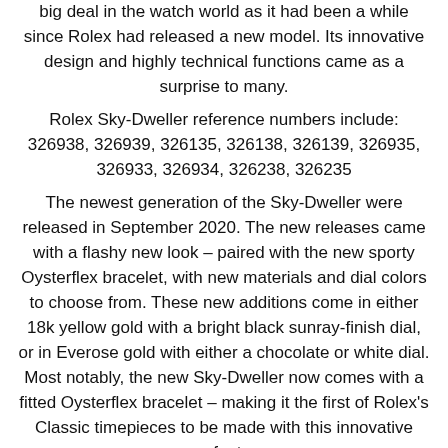big deal in the watch world as it had been a while since Rolex had released a new model. Its innovative design and highly technical functions came as a surprise to many.
Rolex Sky-Dweller reference numbers include: 326938, 326939, 326135, 326138, 326139, 326935, 326933, 326934, 326238, 326235
The newest generation of the Sky-Dweller were released in September 2020. The new releases came with a flashy new look – paired with the new sporty Oysterflex bracelet, with new materials and dial colors to choose from. These new additions come in either 18k yellow gold with a bright black sunray-finish dial, or in Everose gold with either a chocolate or white dial. Most notably, the new Sky-Dweller now comes with a fitted Oysterflex bracelet – making it the first of Rolex's Classic timepieces to be made with this innovative new feature.
With their new sporty look, the 2020 Sky-Dweller models are highly coveted amongst watch collectors and enthusiasts. Even before their recent makeover, the Sky-Dweller was a popular Rolex of